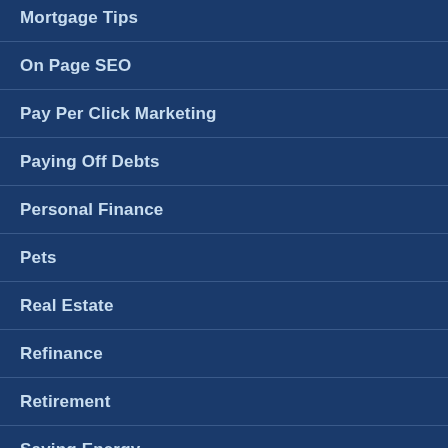Mortgage Tips
On Page SEO
Pay Per Click Marketing
Paying Off Debts
Personal Finance
Pets
Real Estate
Refinance
Retirement
Saving Energy
Savings Account